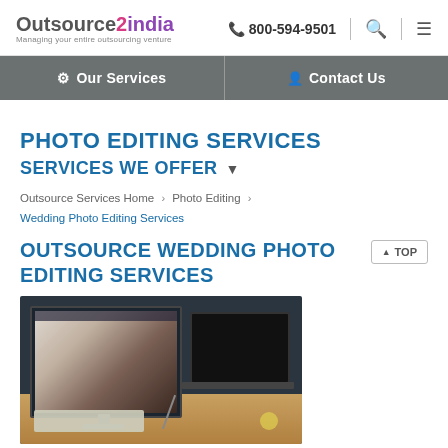Outsource2india — Managing your entire outsourcing venture | 800-594-9501
Our Services | Contact Us
PHOTO EDITING SERVICES
SERVICES WE OFFER
Outsource Services Home > Photo Editing > Wedding Photo Editing Services
OUTSOURCE WEDDING PHOTO EDITING SERVICES
[Figure (photo): Computer monitor and laptop on a desk showing photo editing software with a wedding photo being edited]